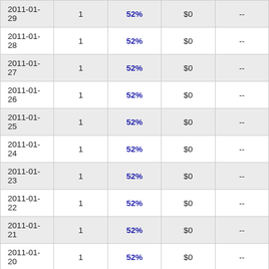| 2011-01-29 | 1 | 52% | $0 | -- |
| 2011-01-28 | 1 | 52% | $0 | -- |
| 2011-01-27 | 1 | 52% | $0 | -- |
| 2011-01-26 | 1 | 52% | $0 | -- |
| 2011-01-25 | 1 | 52% | $0 | -- |
| 2011-01-24 | 1 | 52% | $0 | -- |
| 2011-01-23 | 1 | 52% | $0 | -- |
| 2011-01-22 | 1 | 52% | $0 | -- |
| 2011-01-21 | 1 | 52% | $0 | -- |
| 2011-01-20 | 1 | 52% | $0 | -- |
| 2011-01-19 | 1 | 52% | $0 | -- |
| 2011-01-18 | 1 | 52% | $0 | -- |
| 2011-01-17 | 1 | 52% | $0 | -- |
| 2011-01-16 | 1 | 52% | $0 | -- |
| 2011-01-15 | 1 | 52% | $0 | -- |
| 2011-01-14 | 1 | 52% | $0 | -- |